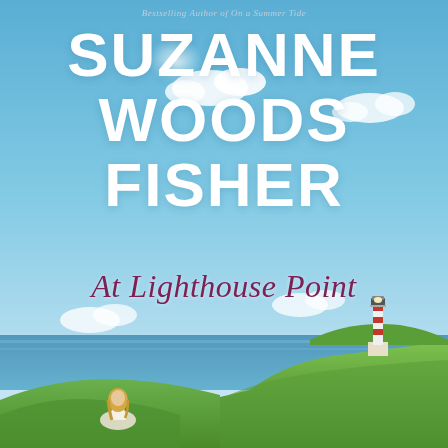[Figure (illustration): Book cover for 'At Lighthouse Point' by Suzanne Woods Fisher. Background shows a coastal scene with a bright blue sky, white clouds, green grassy coastline, blue ocean, a red-and-white striped lighthouse on the right, and a woman with blonde hair sitting in the foreground grass on the left. The top portion has large bold white author name text. Below center is the book title in dark magenta italic script. A small byline at top reads 'Bestselling Author of On a Summer Tide'.]
Bestselling Author of On a Summer Tide
SUZANNE WOODS FISHER
At Lighthouse Point